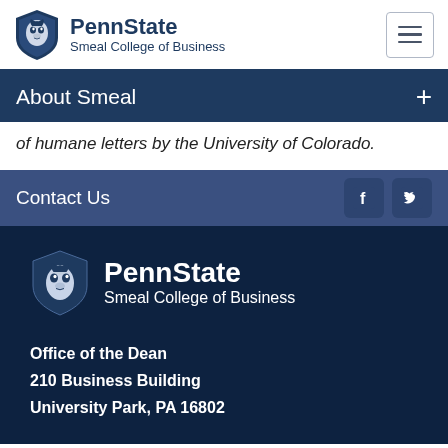[Figure (logo): Penn State Smeal College of Business logo with lion shield and text, plus hamburger menu button]
About Smeal +
of humane letters by the University of Colorado.
Contact Us
[Figure (logo): Penn State Smeal College of Business footer logo with white lion shield and white text on dark navy background]
Office of the Dean
210 Business Building
University Park, PA 16802